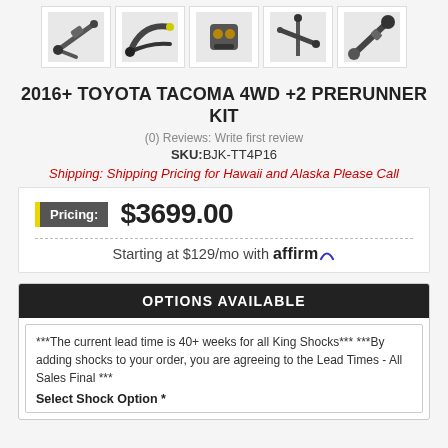[Figure (photo): Row of five product thumbnail images showing parts of the 2016+ Toyota Tacoma 4WD +2 Prerunner Kit from different angles]
2016+ TOYOTA TACOMA 4WD +2 PRERUNNER KIT
(0) Reviews: Write first review
SKU:BJK-TT4P16
Shipping: Shipping Pricing for Hawaii and Alaska Please Call
Pricing: $3699.00
Starting at $129/mo with affirm
OPTIONS AVAILABLE
***The current lead time is 40+ weeks for all King Shocks*** ***By adding shocks to your order, you are agreeing to the Lead Times - All Sales Final ***
Select Shock Option *